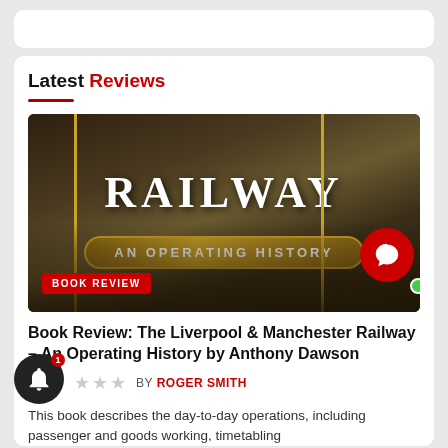Latest Reviews
[Figure (photo): Book cover of 'Railway: An Operating History' with dark vintage background, gold vertical lines, and golden banner subtitle. Shows 'BOOK REVIEW' badge in red at bottom left.]
Book Review: The Liverpool & Manchester Railway – An Operating History by Anthony Dawson
BY ROGER SMITH
This book describes the day-to-day operations, including passenger and goods working, timetabling